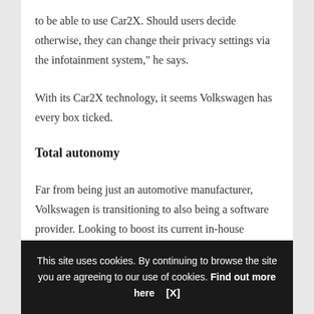to be able to use Car2X. Should users decide otherwise, they can change their privacy settings via the infotainment system," he says.
With its Car2X technology, it seems Volkswagen has every box ticked.
Total autonomy
Far from being just an automotive manufacturer, Volkswagen is transitioning to also being a software provider. Looking to boost its current in-house vehicle software development share from less than 10% to at least 60% by 2025, more than 10,000 digital experts will eventually work under the new Car.Soft vehicles platform
This site uses cookies. By continuing to browse the site you are agreeing to our use of cookies. Find out more here [X]